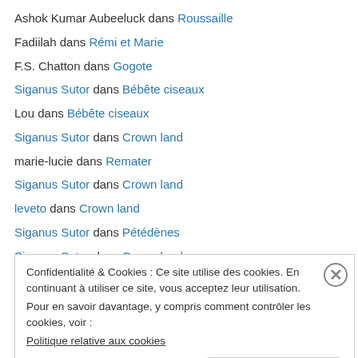Ashok Kumar Aubeeluck dans Roussaille
Fadiilah dans Rémi et Marie
F.S. Chatton dans Gogote
Siganus Sutor dans Bébête ciseaux
Lou dans Bébête ciseaux
Siganus Sutor dans Crown land
marie-lucie dans Remater
Siganus Sutor dans Crown land
leveto dans Crown land
Siganus Sutor dans Pétédènes
Siganus Sutor dans Crown land
Raya Bélinda dans Rémi et Marie
Confidentialité & Cookies : Ce site utilise des cookies. En continuant à utiliser ce site, vous acceptez leur utilisation. Pour en savoir davantage, y compris comment contrôler les cookies, voir : Politique relative aux cookies
Fermer et accepter